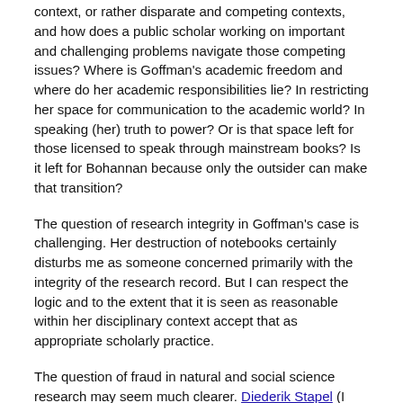context, or rather disparate and competing contexts, and how does a public scholar working on important and challenging problems navigate those competing issues? Where is Goffman's academic freedom and where do her academic responsibilities lie? In restricting her space for communication to the academic world? In speaking (her) truth to power? Or is that space left for those licensed to speak through mainstream books? Is it left for Bohannan because only the outsider can make that transition?
The question of research integrity in Goffman's case is challenging. Her destruction of notebooks certainly disturbs me as someone concerned primarily with the integrity of the research record. But I can respect the logic and to the extent that it is seen as reasonable within her disciplinary context accept that as appropriate scholarly practice.
The question of fraud in natural and social science research may seem much clearer. Diederik Stapel (I could have easily chosen Jan Hendrik Schön or many others) simply made up datasets. Here it seems there are clear lines of responsibility. The scholar is expected to add to the record, not muddy it. As we move towards digital records and data sharing these expectations are rising. Reproducible research is a target that seems plausible at least in some disciplines, although ironically we are perhaps merely returning to the level of record keeping recommended by Robert Boyle in 1660.
Does academic freedom mean the right to publish results based on made up data? Of course not. The scholar has a responsibility to report